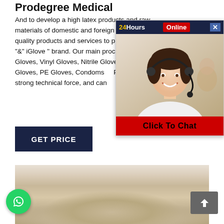Prodegree Medical
And to develop a high latex products and raw materials of domestic and foreign markets, with high quality products and services to p... "&" iGlove " brand. Our main proc... Gloves, Vinyl Gloves, Nitrile Glove... Gloves, PE Gloves, Condoms   PE... strong technical force, and can
[Figure (screenshot): Chat popup overlay with 24Hours Online header, female customer service agent photo, and Click To Chat button]
[Figure (photo): Close-up photo of white/beige powder]
[Figure (illustration): WhatsApp chat button (green circle with phone icon)]
[Figure (illustration): Scroll to top button (grey square with up arrow)]